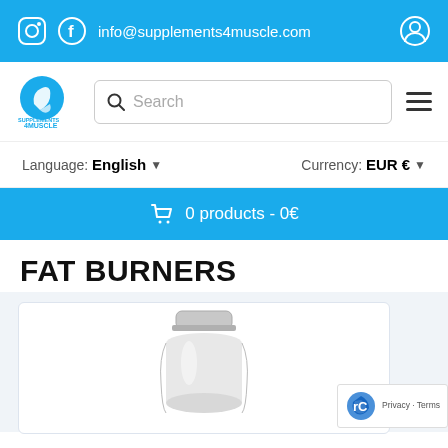info@supplements4muscle.com
[Figure (logo): Supplements 4 Muscle logo with blue muscle icon]
Search
Language: English   Currency: EUR €
0 products - 0€
FAT BURNERS
[Figure (photo): Clear/white supplement bottle with silver cap on light background]